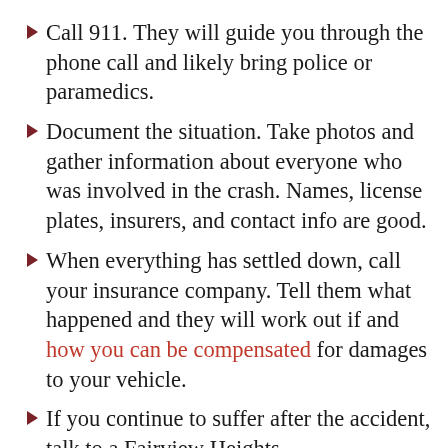Call 911. They will guide you through the phone call and likely bring police or paramedics.
Document the situation. Take photos and gather information about everyone who was involved in the crash. Names, license plates, insurers, and contact info are good.
When everything has settled down, call your insurance company. Tell them what happened and they will work out if and how you can be compensated for damages to your vehicle.
If you continue to suffer after the accident, talk to a Fairview Heights